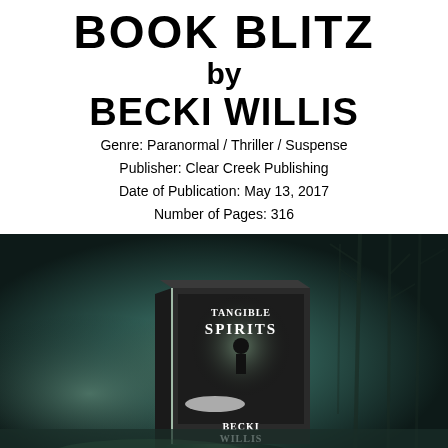BOOK BLITZ by BECKI WILLIS
Genre: Paranormal / Thriller / Suspense
Publisher: Clear Creek Publishing
Date of Publication: May 13, 2017
Number of Pages: 316
[Figure (photo): Book cover of 'Tangible Spirits' by Becki Willis displayed as a 3D book against a dark, foggy forest background with a glowing light behind it. The cover shows a silhouetted figure and a person lying on the ground.]